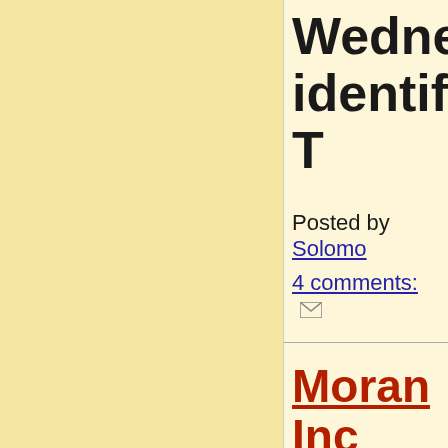Wednesday identify. T
Posted by Solomo
4 comments:
Moran Inc Coming To
Moran 'or new proje